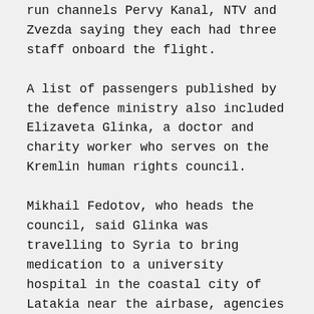run channels Pervy Kanal, NTV and Zvezda saying they each had three staff onboard the flight.
A list of passengers published by the defence ministry also included Elizaveta Glinka, a doctor and charity worker who serves on the Kremlin human rights council.
Mikhail Fedotov, who heads the council, said Glinka was travelling to Syria to bring medication to a university hospital in the coastal city of Latakia near the airbase, agencies reported.
‘Too early’
Kremlin spokesman Dmitry Peskov told news agencies